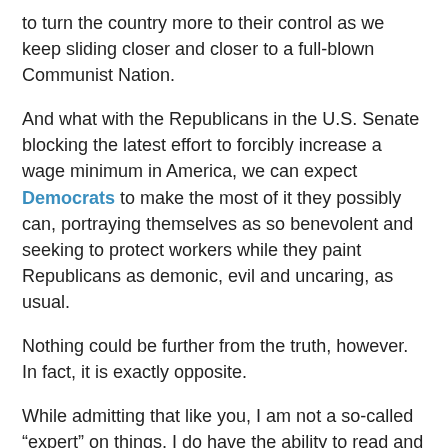to turn the country more to their control as we keep sliding closer and closer to a full-blown Communist Nation.
And what with the Republicans in the U.S. Senate blocking the latest effort to forcibly increase a wage minimum in America, we can expect Democrats to make the most of it they possibly can, portraying themselves as so benevolent and seeking to protect workers while they paint Republicans as demonic, evil and uncaring, as usual.
Nothing could be further from the truth, however. In fact, it is exactly opposite.
While admitting that like you, I am not a so-called “expert” on things, I do have the ability to read and reason. So, with that in mind, let’s look at the minimum wage.
It was first instituted in America in 1938 as part of the Fair Labor Standards Act, setting a minimum wage at 25¢ an hour. That doesn’t sound like much today, but it was acceptable in 1938 as the country, in fact the world was still mired in the Great Depression, all previous socialist efforts